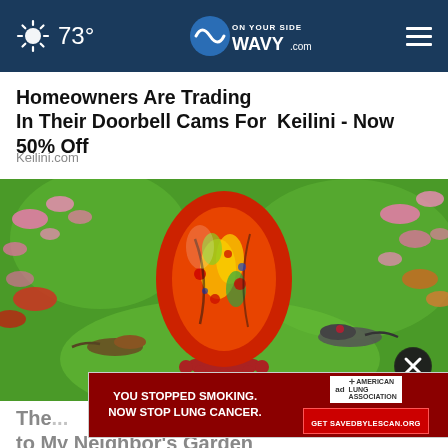73° WAVY.com On Your Side
Homeowners Are Trading In Their Doorbell Cams For Keilini - Now 50% Off
Keilini.com
[Figure (photo): A colorful decorative glass hummingbird feeder in red, orange, yellow and green multicolor patterns, shaped like a large egg, mounted on a pedestal with flower-shaped feeding ports. Two hummingbirds are approaching the feeder from both sides. Background shows pink flowering branches and green blurred foliage.]
[Figure (infographic): Pop-up advertisement banner: dark red background on left side reading 'YOU STOPPED SMOKING. NOW STOP LUNG CANCER.' in white bold text. Right side shows 'ad' badge and American Lung Association logo with a red button reading 'Get SAVEDBYLESCAN.ORG']
The ... also to My Neighbor's Garden